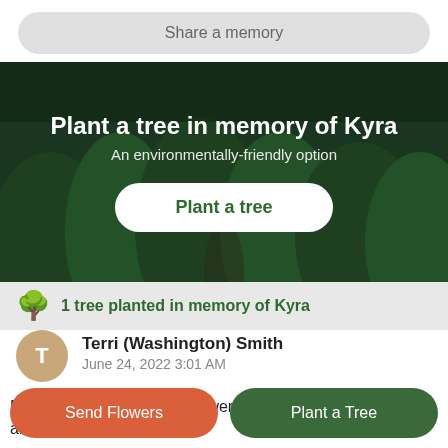Share a memory
[Figure (photo): Forest aerial view with dark green pine trees, used as background for plant-a-tree memorial banner]
Plant a tree in memory of Kyra
An environmentally-friendly option
Plant a tree
1 tree planted in memory of Kyra
Terri (Washington) Smith
June 24, 2022 3:01 AM
My dearest sweet Kyra you were called back home and we are
Send Flowers
Plant a Tree